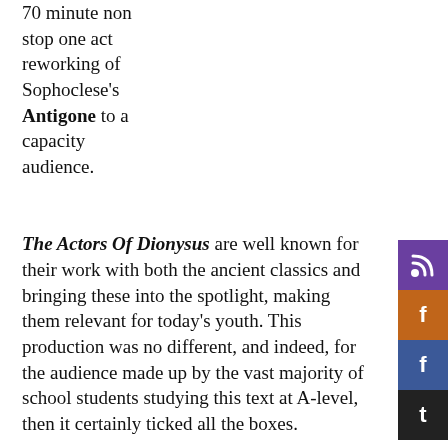70 minute non stop one act reworking of Sophoclese's Antigone to a capacity audience.
The Actors Of Dionysus are well known for their work with both the ancient classics and bringing these into the spotlight, making them relevant for today's youth. This production was no different, and indeed, for the audience made up by the vast majority of school students studying this text at A-level, then it certainly ticked all the boxes.
It was the right length to keep them engaged, with no interval for them to lose concentration; it was modernised and simplified beyond textual recognition; the plot and themes were drummed into us; and the whole presented very much in the way I remember student experimental presentations were thirty plus years ago!